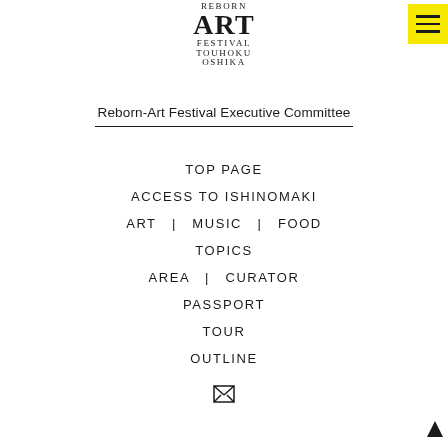[Figure (logo): Reborn Art Festival Touhoku Oshika logo with large ART text]
[Figure (other): Yellow hamburger menu button with three horizontal bars]
Reborn-Art Festival Executive Committee
TOP PAGE
ACCESS TO ISHINOMAKI
ART | MUSIC | FOOD
TOPICS
AREA | CURATOR
PASSPORT
TOUR
OUTLINE
[Figure (other): Email/envelope icon (letter X pattern)]
[Figure (other): Back-to-top triangle arrow, bottom right corner]